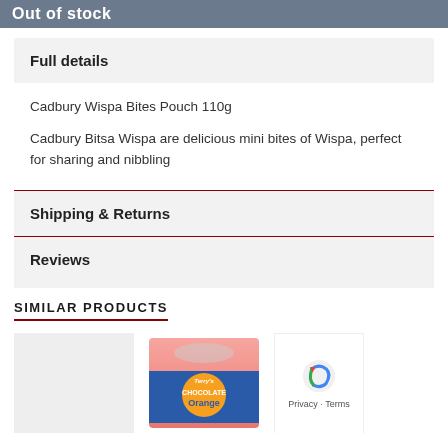Out of stock
Full details
Cadbury Wispa Bites Pouch 110g
Cadbury Bitsa Wispa are delicious mini bites of Wispa, perfect for sharing and nibbling
Shipping & Returns
Reviews
SIMILAR PRODUCTS
[Figure (photo): Terry's Chocolate Orange box product thumbnail]